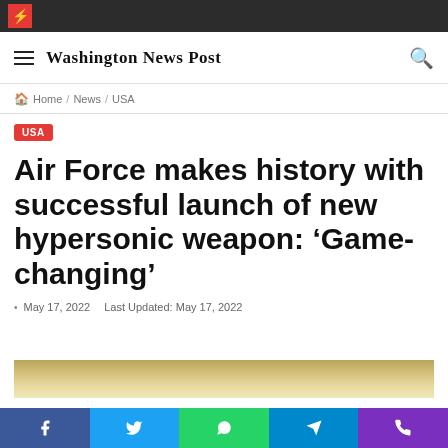Washington News Post
Home / News / USA
USA
Air Force makes history with successful launch of new hypersonic weapon: ‘Game-changing’
May 17, 2022   Last Updated: May 17, 2022
[Figure (photo): Partial image of a launch or missile, gold/tan colored sky or exhaust]
Share buttons: Facebook, Twitter, WhatsApp, Telegram, Phone